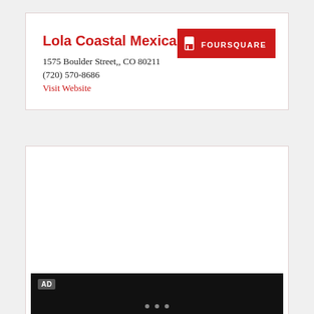Lola Coastal Mexican
1575 Boulder Street,, CO 80211
(720) 570-8686
Visit Website
[Figure (logo): Foursquare red button with flag icon and FOURSQUARE text]
The Kitchen, by Cooking with Que
6529 Woodward Avenue,, MI 48202
(313) 462-4184
Visit Website
[Figure (screenshot): AD bar - dark video/ad player at bottom of page]